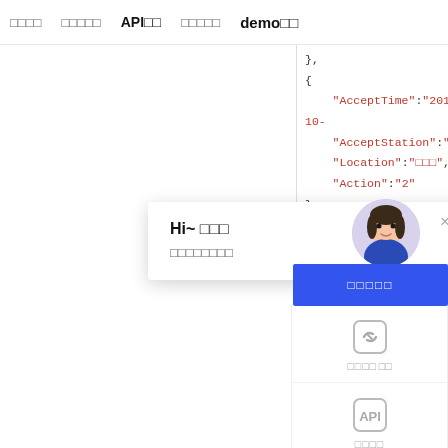□□□□  □□□□□  API□□  □□□□□  demo□□
[Figure (screenshot): Code panel showing JSON with AcceptTime, AcceptStation, Location, Action fields repeated in multiple objects]
[Figure (screenshot): Popup card with Hi~ greeting and subtitle text, with close X button]
[Figure (screenshot): Female avatar in circular frame with purple background]
[Figure (screenshot): Blue button with Chinese text label]
[Figure (screenshot): Side menu panel with two icon items: chain-link icon with Chinese label, and API icon with Chinese label, and a third partially visible item]